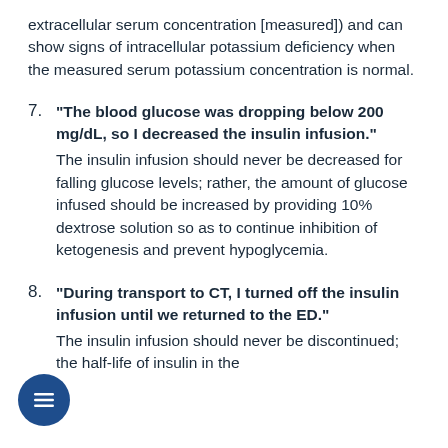extracellular serum concentration [measured]) and can show signs of intracellular potassium deficiency when the measured serum potassium concentration is normal.
7. "The blood glucose was dropping below 200 mg/dL, so I decreased the insulin infusion." The insulin infusion should never be decreased for falling glucose levels; rather, the amount of glucose infused should be increased by providing 10% dextrose solution so as to continue inhibition of ketogenesis and prevent hypoglycemia.
8. "During transport to CT, I turned off the insulin infusion until we returned to the ED." The insulin infusion should never be discontinued; the half-life of insulin in the